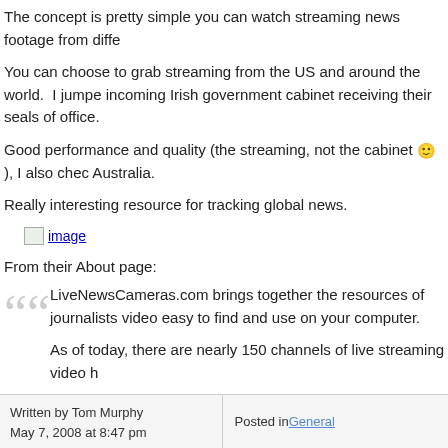The concept is pretty simple you can watch streaming news footage from diffe
You can choose to grab streaming from the US and around the world. I jumped incoming Irish government cabinet receiving their seals of office.
Good performance and quality (the streaming, not the cabinet 🙂 ), I also chec Australia.
Really interesting resource for tracking global news.
[Figure (other): Image placeholder link showing a broken/loading image icon with 'image' text as a hyperlink]
From their About page:
LiveNewsCameras.com brings together the resources of journalists video easy to find and use on your computer.

As of today, there are nearly 150 channels of live streaming video h

You can preview what is on any given stream just by leaving the site thumbnail images will refresh automatically every minute or so.
Written by Tom Murphy
May 7, 2008 at 8:47 pm | Posted in General